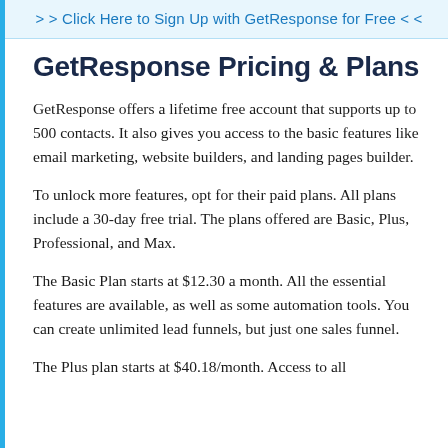>> Click Here to Sign Up with GetResponse for Free <<
GetResponse Pricing & Plans
GetResponse offers a lifetime free account that supports up to 500 contacts. It also gives you access to the basic features like email marketing, website builders, and landing pages builder.
To unlock more features, opt for their paid plans. All plans include a 30-day free trial. The plans offered are Basic, Plus, Professional, and Max.
The Basic Plan starts at $12.30 a month. All the essential features are available, as well as some automation tools. You can create unlimited lead funnels, but just one sales funnel.
The Plus plan starts at $40.18/month. Access to all